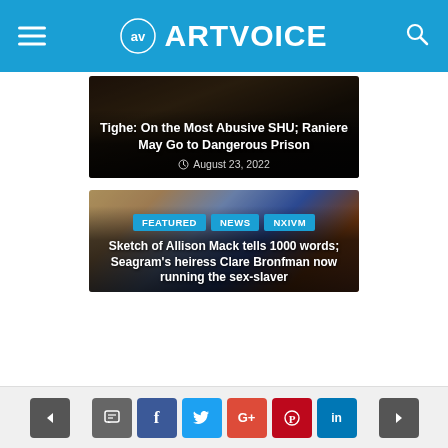ARTVOICE
[Figure (photo): Dark courtroom/legal photo with text overlay: article card for 'Tighe: On the Most Abusive SHU; Raniere May Go to Dangerous Prison' dated August 23, 2022]
Tighe: On the Most Abusive SHU; Raniere May Go to Dangerous Prison
August 23, 2022
[Figure (illustration): Courtroom sketch showing Allison Mack and others; article card for 'Sketch of Allison Mack tells 1000 words; Seagram's heiress Clare Bronfman now running the sex-slaver']
Sketch of Allison Mack tells 1000 words; Seagram's heiress Clare Bronfman now running the sex-slaver
FEATURED  NEWS  NXIVM